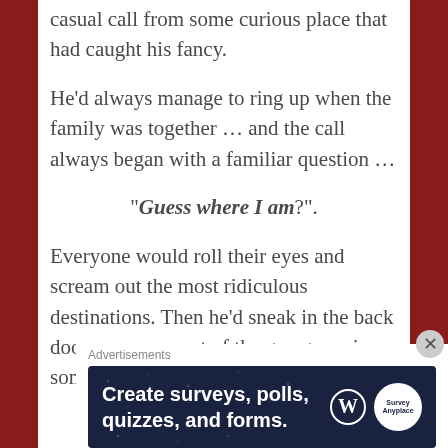casual call from some curious place that had caught his fancy.
He'd always manage to ring up when the family was together … and the call always began with a familiar question …
“Guess where I am?”.
Everyone would roll their eyes and scream out the most ridiculous destinations. Then he'd sneak in the back door … or pop out of the garage … in some cheapo t-shirt that
Advertisements
[Figure (infographic): Advertisement banner with dark navy background and star pattern. Text reads 'Create surveys, polls, quizzes, and forms.' with WordPress logo and Survey Anyplace logo on the right.]